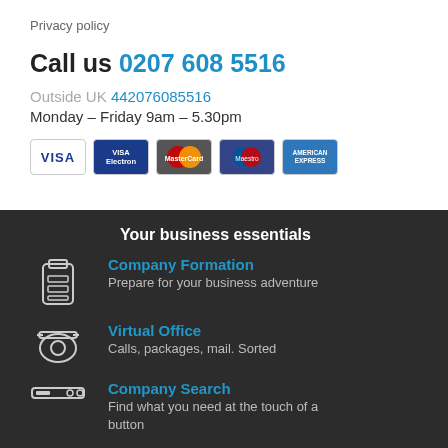Privacy policy
Call us 0207 608 5516
Outside UK 442076085516
Monday – Friday 9am – 5.30pm
[Figure (other): Payment card logos: VISA, VISA Electron, MasterCard, Maestro, American Express]
Your business essentials
Company Formation – Prepare for your business adventure
Virtual Office – Calls, packages, mail. Sorted
Company Search – Find what you need at the touch of a button
Websites